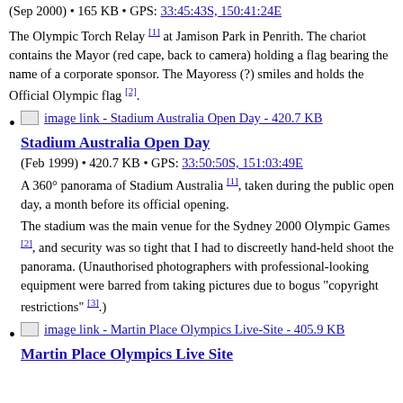(Sep 2000) • 165 KB • GPS: 33:45:43S, 150:41:24E
The Olympic Torch Relay [1] at Jamison Park in Penrith. The chariot contains the Mayor (red cape, back to camera) holding a flag bearing the name of a corporate sponsor. The Mayoress (?) smiles and holds the Official Olympic flag [2].
image link - Stadium Australia Open Day - 420.7 KB
Stadium Australia Open Day
(Feb 1999) • 420.7 KB • GPS: 33:50:50S, 151:03:49E
A 360° panorama of Stadium Australia [1], taken during the public open day, a month before its official opening.
The stadium was the main venue for the Sydney 2000 Olympic Games [2], and security was so tight that I had to discreetly hand-held shoot the panorama. (Unauthorised photographers with professional-looking equipment were barred from taking pictures due to bogus "copyright restrictions" [3].)
image link - Martin Place Olympics Live-Site - 405.9 KB
Martin Place Olympics Live Site